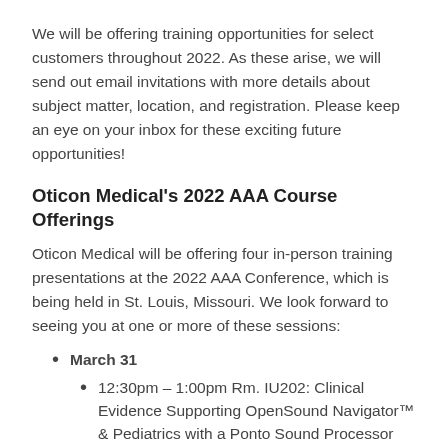We will be offering training opportunities for select customers throughout 2022. As these arise, we will send out email invitations with more details about subject matter, location, and registration. Please keep an eye on your inbox for these exciting future opportunities!
Oticon Medical's 2022 AAA Course Offerings
Oticon Medical will be offering four in-person training presentations at the 2022 AAA Conference, which is being held in St. Louis, Missouri. We look forward to seeing you at one or more of these sessions:
March 31
12:30pm – 1:00pm Rm. IU202: Clinical Evidence Supporting OpenSound Navigator™ & Pediatrics with a Ponto Sound Processor
1:10pm – 1:40pm Rm. IU211: Bone Anchored